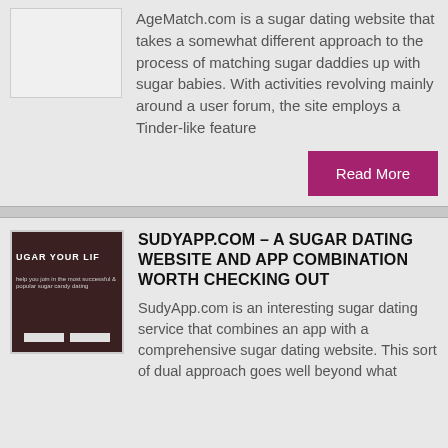[Figure (screenshot): Screenshot placeholder image (light gray box) for AgeMatch.com]
AgeMatch.com is a sugar dating website that takes a somewhat different approach to the process of matching sugar daddies up with sugar babies. With activities revolving mainly around a user forum, the site employs a Tinder-like feature
Read More
[Figure (screenshot): Screenshot of SudyApp.com website showing dark background with text 'SUGAR YOUR LIF' and input fields]
SUDYAPP.COM – A SUGAR DATING WEBSITE AND APP COMBINATION WORTH CHECKING OUT
SudyApp.com is an interesting sugar dating service that combines an app with a comprehensive sugar dating website. This sort of dual approach goes well beyond what